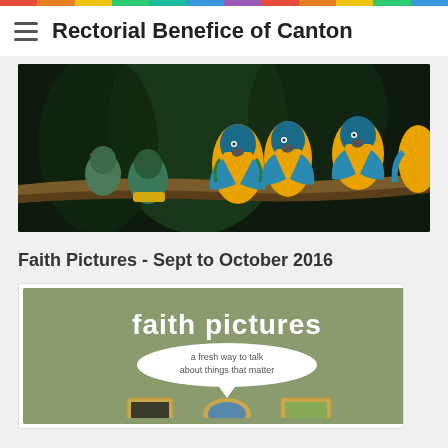Rectorial Benefice of Canton
[Figure (photo): A group of blue-and-yellow macaw parrots perched on a branch in a tropical setting]
Faith Pictures - Sept to October 2016
[Figure (illustration): Faith Pictures promotional card on olive/sage green background with large white bold text 'faith pictures', a speech bubble reading 'a fresh way to talk about things that matter', and three decorative picture frames at the bottom]